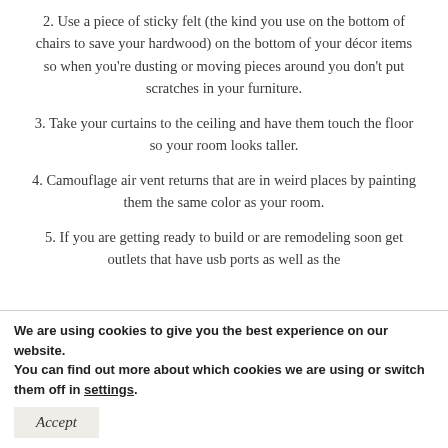2. Use a piece of sticky felt (the kind you use on the bottom of chairs to save your hardwood) on the bottom of your décor items so when you're dusting or moving pieces around you don't put scratches in your furniture.
3. Take your curtains to the ceiling and have them touch the floor so your room looks taller.
4. Camouflage air vent returns that are in weird places by painting them the same color as your room.
5. If you are getting ready to build or are remodeling soon get outlets that have usb ports as well as the
We are using cookies to give you the best experience on our website.
You can find out more about which cookies we are using or switch them off in settings.
Accept